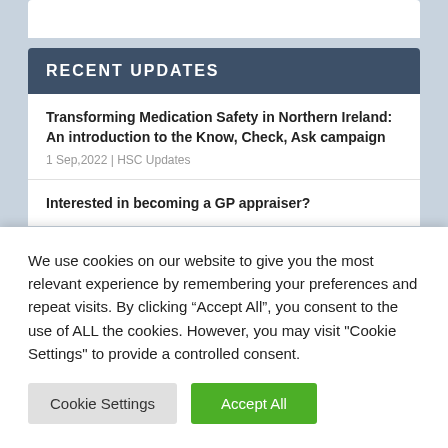RECENT UPDATES
Transforming Medication Safety in Northern Ireland: An introduction to the Know, Check, Ask campaign
1 Sep,2022 | HSC Updates
Interested in becoming a GP appraiser?
We use cookies on our website to give you the most relevant experience by remembering your preferences and repeat visits. By clicking “Accept All”, you consent to the use of ALL the cookies. However, you may visit "Cookie Settings" to provide a controlled consent.